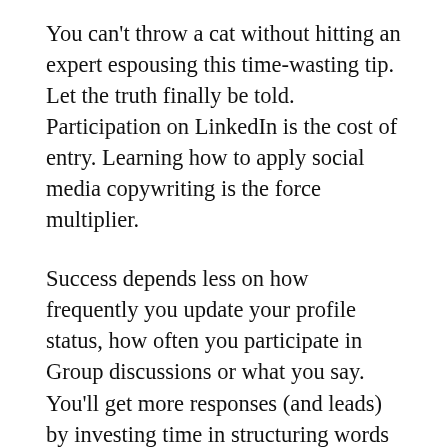You can't throw a cat without hitting an expert espousing this time-wasting tip. Let the truth finally be told. Participation on LinkedIn is the cost of entry. Learning how to apply social media copywriting is the force multiplier.
Success depends less on how frequently you update your profile status, how often you participate in Group discussions or what you say. You'll get more responses (and leads) by investing time in structuring words to be provocative.
Instead of wasting time patting people on the back, disagree once in a while. Invent ways to make potential buyers curious about your abilities and compel them to take action.